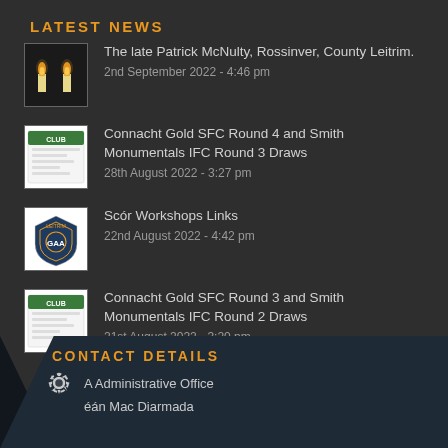LATEST NEWS
The late Patrick McNulty, Rossinver, County Leitrim.
2nd September 2022 - 4:46 pm
Connacht Gold SFC Round 4 and Smith Monumentals IFC Round 3 Draws
28th August 2022 - 3:27 pm
Scór Workshops Links
22nd August 2022 - 4:42 pm
Connacht Gold SFC Round 3 and Smith Monumentals IFC Round 2 Draws
21st August 2022 - 3:20 pm
CONTACT DETAILS
A Administrative Office
éán Mac Diarmada